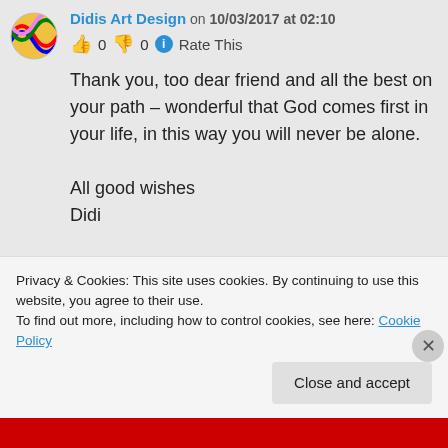Didis Art Design on 10/03/2017 at 02:10
👍 0 👎 0 ℹ Rate This
Thank you, too dear friend and all the best on your path – wonderful that God comes first in your life, in this way you will never be alone.

All good wishes
Didi
Privacy & Cookies: This site uses cookies. By continuing to use this website, you agree to their use.
To find out more, including how to control cookies, see here: Cookie Policy
Close and accept